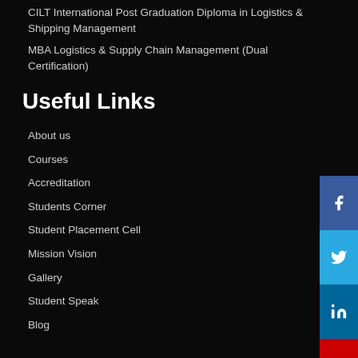CILT International Post Graduation Diploma in Logistics & Shipping Management
MBA Logistics & Supply Chain Management (Dual Certification)
Useful Links
About us
Courses
Accreditation
Students Corner
Student Placement Cell
Mission Vision
Gallery
Student Speak
Blog
Useful Links
Apply Online
Contact Us